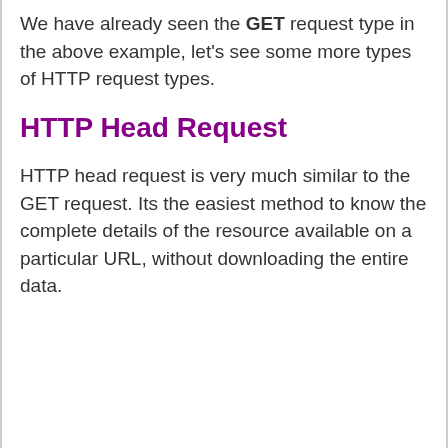We have already seen the GET request type in the above example, let's see some more types of HTTP request types.
HTTP Head Request
HTTP head request is very much similar to the GET request. Its the easiest method to know the complete details of the resource available on a particular URL, without downloading the entire data.